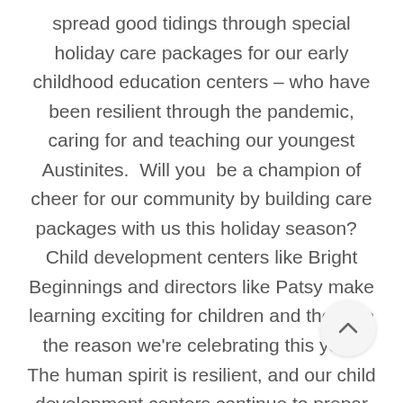spread good tidings through special holiday care packages for our early childhood education centers – who have been resilient through the pandemic, caring for and teaching our youngest Austinites.  Will you  be a champion of cheer for our community by building care packages with us this holiday season?   Child development centers like Bright Beginnings and directors like Patsy make learning exciting for children and they are the reason we're celebrating this year. The human spirit is resilient, and our child development centers continue to prepar youngest Austinites for success!  Each holid e package will include: 1 Yeti coffee mug Coffee shop gift card   3-5 children's books Check out our